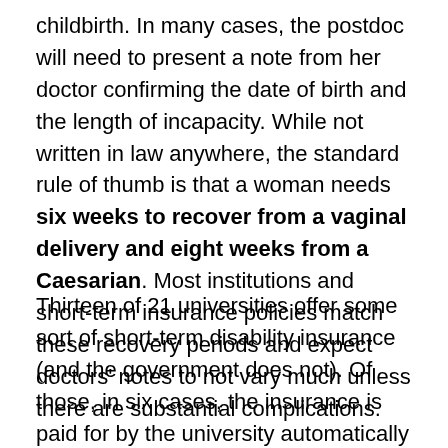childbirth. In many cases, the postdoc will need to present a note from her doctor confirming the date of birth and the length of incapacity. While not written in law anywhere, the standard rule of thumb is that a woman needs six weeks to recover from a vaginal delivery and eight weeks from a Caesarian. Most institutions and short-term insurance policies match these recovery periods and expect doctors' notes to not vary much unless there are substantial complications.
Thirteen of 21 universities offer some sort of short-term disability insurance (and the government does not). Of those, in six cases, the insurance is paid for by the university automatically at no cost to the postdoc, in one case the policy is paid for by the state, and in the other six cases, the postdoc must opt for the insurance and pay premiums when hired (typically around $10-$15 per